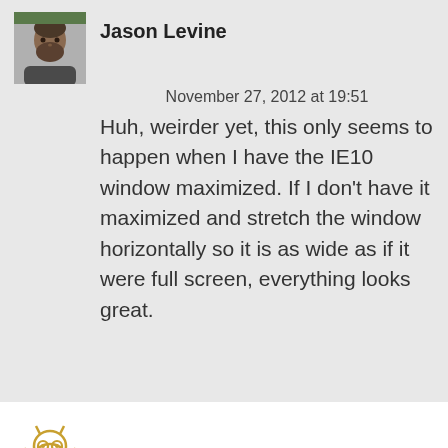[Figure (photo): Profile photo of Jason Levine, a man with a beard outdoors]
Jason Levine
November 27, 2012 at 19:51
Huh, weirder yet, this only seems to happen when I have the IE10 window maximized. If I don't have it maximized and stretch the window horizontally so it is as wide as if it were full screen, everything looks great.
[Figure (illustration): Avatar icon for Nelson, a stylized owl or creature in gold/yellow outline]
Nelson
November 27, 2012 at 19:27